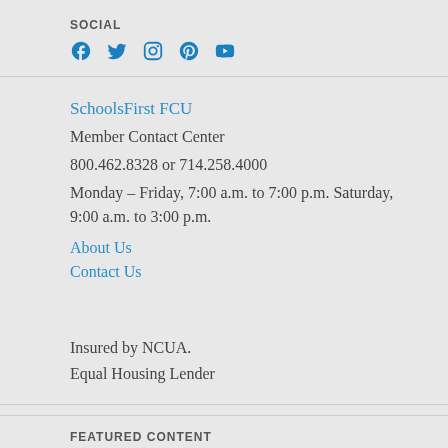SOCIAL
[Figure (other): Social media icons: Facebook, Twitter, Instagram, Pinterest, YouTube — all in blue]
SchoolsFirst FCU
Member Contact Center
800.462.8328 or 714.258.4000
Monday – Friday, 7:00 a.m. to 7:00 p.m. Saturday, 9:00 a.m. to 3:00 p.m.
About Us
Contact Us
Insured by NCUA.
Equal Housing Lender
FEATURED CONTENT
Report Card Newsletter